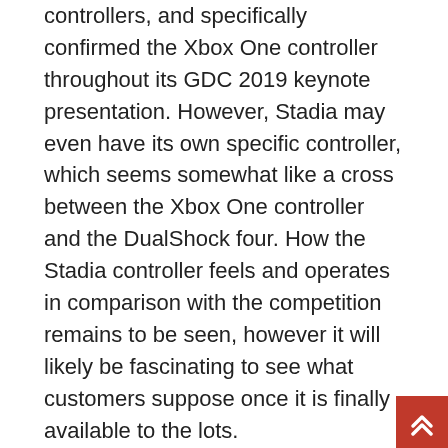controllers, and specifically confirmed the Xbox One controller throughout its GDC 2019 keynote presentation. However, Stadia may even have its own specific controller, which seems somewhat like a cross between the Xbox One controller and the DualShock four. How the Stadia controller feels and operates in comparison with the competition remains to be seen, however it will likely be fascinating to see what customers suppose once it is finally available to the lots.
For probably the most half, the wired and wi-fi controller support in stadia is good, though not good. Unfollow stadia controller wasabi to cease getting updates on your ebay feed. lexapro Google is lastly letting folks contact its new controller for stadia, and in the event you like controllers you'll be able to we